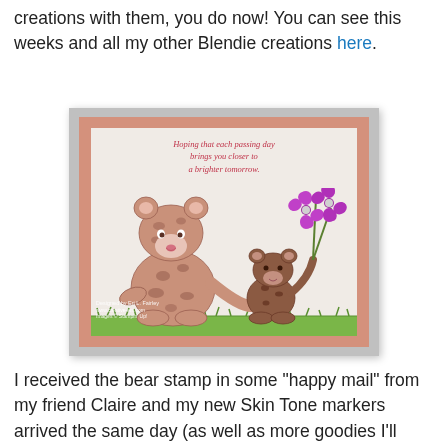creations with them, you do now! You can see this weeks and all my other Blendie creations here.
[Figure (photo): A handmade greeting card featuring two spotted bears (a large and a small one) on a white background with pink border. The small bear holds purple flowers. Text reads: 'Hoping that each passing day brings you closer to a brighter tomorrow.' Watermark: 'Designed by Eri L. Fairley www.creative-em.com Images © Stampin' Up!']
I received the bear stamp in some "happy mail" from my friend Claire and my new Skin Tone markers arrived the same day (as well as more goodies I'll share with you over the coming weeks). Perfect timing!